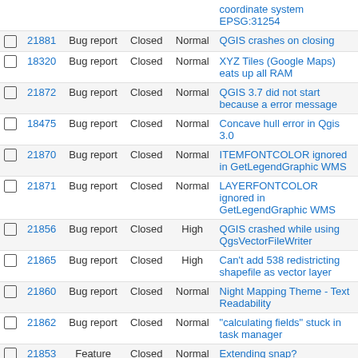|  | ID | Type | Status | Priority | Summary |
| --- | --- | --- | --- | --- | --- |
|  |  |  |  |  | coordinate system EPSG:31254 |
| ☐ | 21881 | Bug report | Closed | Normal | QGIS crashes on closing |
| ☐ | 18320 | Bug report | Closed | Normal | XYZ Tiles (Google Maps) eats up all RAM |
| ☐ | 21872 | Bug report | Closed | Normal | QGIS 3.7 did not start because a error message |
| ☐ | 18475 | Bug report | Closed | Normal | Concave hull error in Qgis 3.0 |
| ☐ | 21870 | Bug report | Closed | Normal | ITEMFONTCOLOR ignored in GetLegendGraphic WMS |
| ☐ | 21871 | Bug report | Closed | Normal | LAYERFONTCOLOR ignored in GetLegendGraphic WMS |
| ☐ | 21856 | Bug report | Closed | High | QGIS crashed while using QgsVectorFileWriter |
| ☐ | 21865 | Bug report | Closed | High | Can't add 538 redistricting shapefile as vector layer |
| ☐ | 21860 | Bug report | Closed | Normal | Night Mapping Theme - Text Readability |
| ☐ | 21862 | Bug report | Closed | Normal | "calculating fields" stuck in task manager |
| ☐ | 21853 | Feature request | Closed | Normal | Extending snap? |
| ☐ | 20065 | Bug report | Closed | Normal | QgsInterface::adddockwidget slows down when large layers open |
| ☐ | 21854 | Bug report | Closed | High | Add Grass raster layer with pyqg 3 crash qgis |
| ☐ | 21787 | Feature request | Closed | Normal | GetFeatureInfo responses with URLs should be clickable |
| ☐ | 6889 | Bug report | Closed | Normal | Loading PostGIS rasters do not work |
| ☐ | 12890 | Feature request | Closed | Normal | Add symbol for filtered layer in |